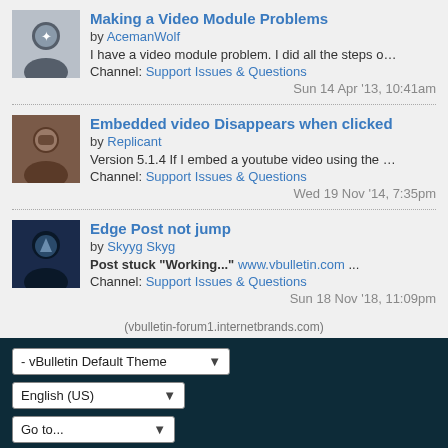Making a Video Module Problems by AcemanWolf I have a video module problem. I did all the steps on Video T… Channel: Support Issues & Questions Sun 14 Apr '13, 10:41am
Embedded video Disappears when clicked by Replicant Version 5.1.4 If I embed a youtube video using the editor vid… Channel: Support Issues & Questions Wed 19 Nov '14, 7:35pm
Edge Post not jump by Skyyg Skyg Post stuck "Working..." www.vbulletin.com ... Channel: Support Issues & Questions Sun 18 Nov '18, 11:09pm
(vbulletin-forum1.internetbrands.com)
Do Not Sell My Personal Information